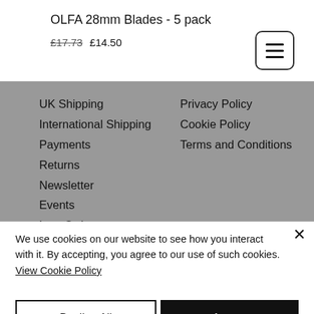OLFA 28mm Blades - 5 pack
£17.73  £14.50
UK Shipping
International Shipping
Payments
Returns
Newsletter
Events
Lost Orders
Contact Us
Privacy Policy
Cookie Policy
Terms and Conditions
We use cookies on our website to see how you interact with it. By accepting, you agree to our use of such cookies. View Cookie Policy
Decline All
Accept
Cookie Settings